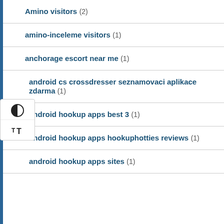Amino visitors (2)
amino-inceleme visitors (1)
anchorage escort near me (1)
android cs crossdresser seznamovaci aplikace zdarma (1)
android hookup apps best 3 (1)
android hookup apps hookuphotties reviews (1)
android hookup apps sites (1)